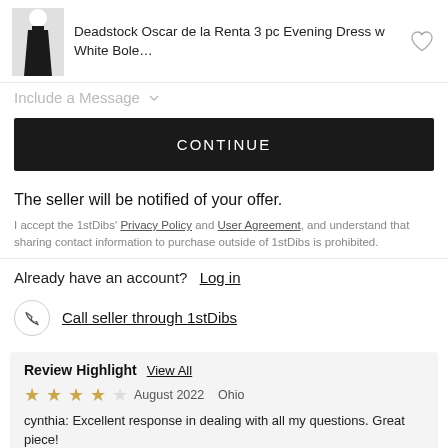[Figure (photo): Small product image of a black evening dress with white bolero jacket]
Deadstock Oscar de la Renta 3 pc Evening Dress w White Bole...
Include a Message
CONTINUE
The seller will be notified of your offer.
I accept the 1stDibs' Privacy Policy and User Agreement, and understand that sharing contact information to purchase outside of 1stDibs is prohibited.
Already have an account?  Log in
Call seller through 1stDibs
Review Highlight  View All
★★★★☆  August 2022   Ohio
cynthia: Excellent response in dealing with all my questions. Great piece!